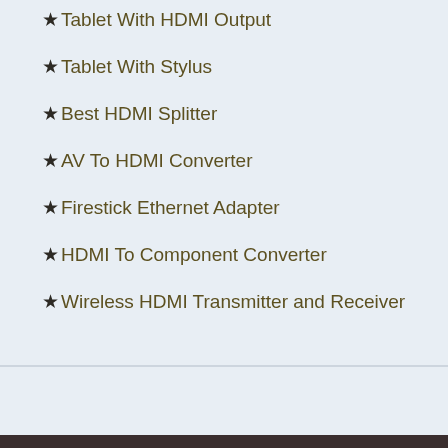★Tablet With HDMI Output
★Tablet With Stylus
★Best HDMI Splitter
★AV To HDMI Converter
★Firestick Ethernet Adapter
★HDMI To Component Converter
★Wireless HDMI Transmitter and Receiver